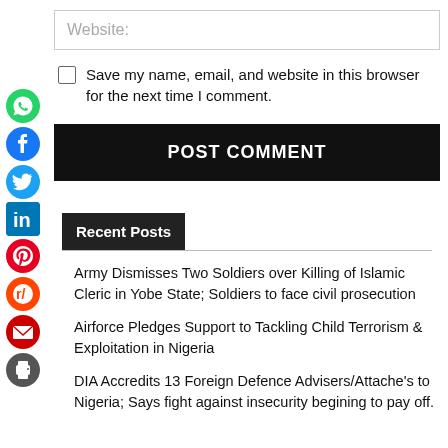Website:
Save my name, email, and website in this browser for the next time I comment.
POST COMMENT
Recent Posts
Army Dismisses Two Soldiers over Killing of Islamic Cleric in Yobe State; Soldiers to face civil prosecution
Airforce Pledges Support to Tackling Child Terrorism & Exploitation in Nigeria
DIA Accredits 13 Foreign Defence Advisers/Attache's to Nigeria; Says fight against insecurity begining to pay off.